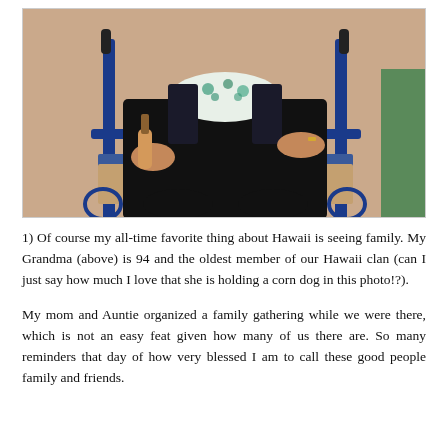[Figure (photo): An elderly woman seated in a blue wheelchair, wearing black pants and a floral top under a dark cardigan, holding what appears to be a corn dog in her left hand. A green object is visible at the right edge. The background is a pinkish-beige wall.]
1) Of course my all-time favorite thing about Hawaii is seeing family. My Grandma (above) is 94 and the oldest member of our Hawaii clan (can I just say how much I love that she is holding a corn dog in this photo!?).
My mom and Auntie organized a family gathering while we were there, which is not an easy feat given how many of us there are. So many reminders that day of how very blessed I am to call these good people family and friends.